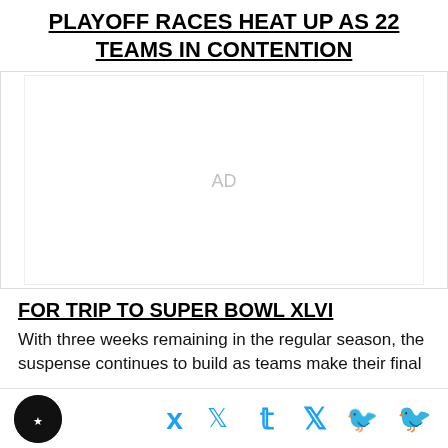PLAYOFF RACES HEAT UP AS 22 TEAMS IN CONTENTION
[Figure (other): Advertisement placeholder area with 'AD' label]
FOR TRIP TO SUPER BOWL XLVI
With three weeks remaining in the regular season, the suspense continues to build as teams make their final
Logo | Twitter icon | Facebook icon